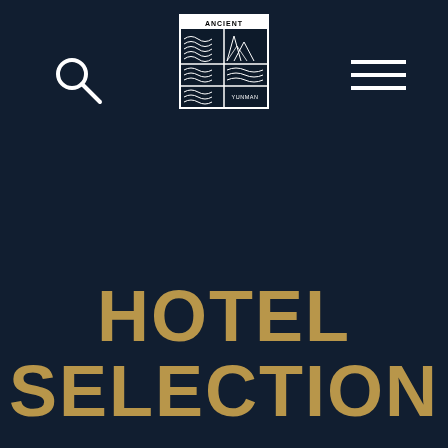[Figure (logo): Ancient Yunnan logo: a square emblem with text 'ANCIENT YUNNAN' at top and layered wave/mountain patterns below, rendered in black and white]
[Figure (other): Search icon (magnifying glass) in white, top-left corner]
[Figure (other): Hamburger menu icon (three horizontal lines) in white, top-right corner]
HOTEL SELECTION